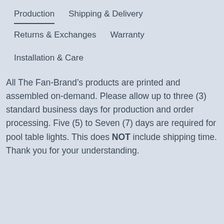Production
Shipping & Delivery
Returns & Exchanges
Warranty
Installation & Care
All The Fan-Brand’s products are printed and assembled on-demand. Please allow up to three (3) standard business days for production and order processing. Five (5) to Seven (7) days are required for pool table lights. This does NOT include shipping time. Thank you for your understanding.